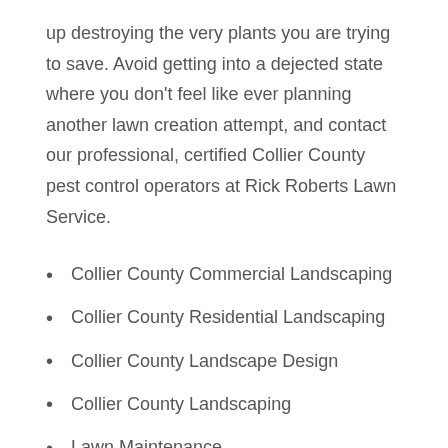up destroying the very plants you are trying to save. Avoid getting into a dejected state where you don't feel like ever planning another lawn creation attempt, and contact our professional, certified Collier County pest control operators at Rick Roberts Lawn Service.
Collier County Commercial Landscaping
Collier County Residential Landscaping
Collier County Landscape Design
Collier County Landscaping
Lawn Maintenance